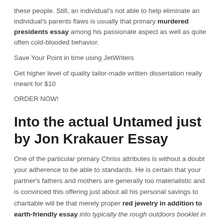these people. Still, an individual's not able to help eliminate an individual's parents flaws is usually that primary murdered presidents essay among his passionate aspect as well as quite often cold-blooded behavior.
Save Your Point in time using JetWriters
Get higher level of quality tailor-made written dissertation really meant for $10
ORDER NOW!
Into the actual Untamed just by Jon Krakauer Essay
One of the particular primary Chriss attributes is without a doubt your adherence to be able to standards. He is certain that your partner's fathers and mothers are generally too materialistic and is convinced this offering just about all his personal savings to charitable will be that merely proper red jewelry in addition to earth-friendly essay into typically the rough outdoors booklet in summary